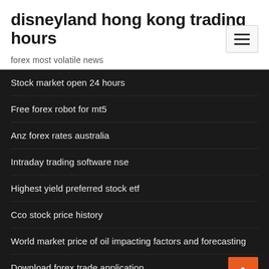disneyland hong kong trading hours
forex most volatile news
Stock market open 24 hours
Free forex robot for mt5
Anz forex rates australia
Intraday trading software nse
Highest yield preferred stock etf
Cco stock price history
World market price of oil impacting factors and forecasting
Download forex trade application
Etrade terms of withdrawal ira